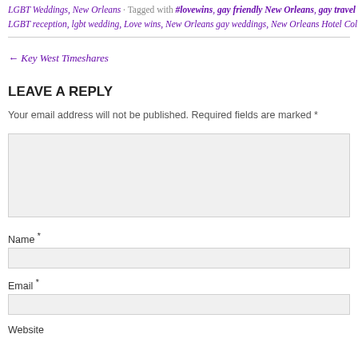LGBT Weddings, New Orleans · Tagged with #lovewins, gay friendly New Orleans, gay travel b…
LGBT reception, lgbt wedding, Love wins, New Orleans gay weddings, New Orleans Hotel Coll…
← Key West Timeshares
LEAVE A REPLY
Your email address will not be published. Required fields are marked *
Name *
Email *
Website